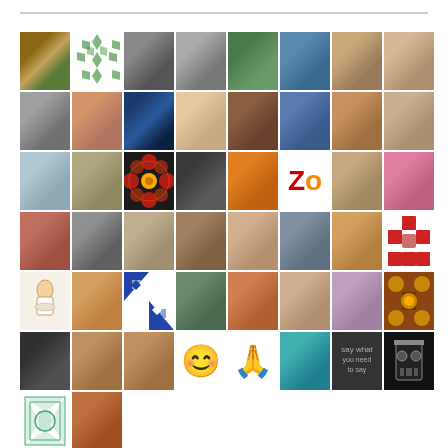[Figure (photo): Grid collage of profile photos, decorative patterns, emojis, and icons arranged in 7 rows and 8 columns]